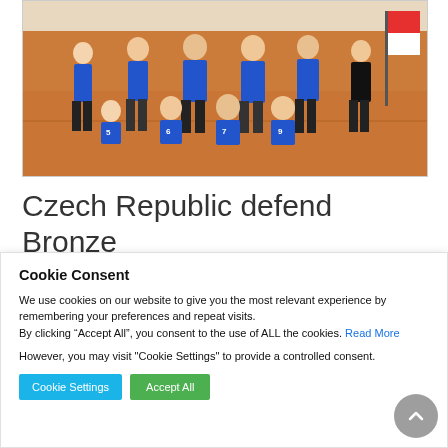[Figure (photo): Group photo of a sports team wearing blue jerseys numbered 5, 6, 7, 9 and others, seated and standing on an orange gymnasium floor. A red and white flag is visible on the right side.]
Czech Republic defend Bronze
Cookie Consent
We use cookies on our website to give you the most relevant experience by remembering your preferences and repeat visits.
By clicking “Accept All”, you consent to the use of ALL the cookies. Read More
However, you may visit "Cookie Settings" to provide a controlled consent.